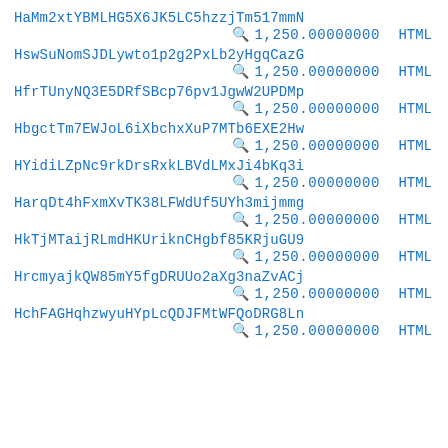HaMm2xtYBMLHG5X6JK5LC5hzzjTm517mmN
🔍 1,250.00000000 HTML
HswSuNomSJDLywto1p2g2PxLb2yHgqCazG
🔍 1,250.00000000 HTML
HfrTUnyNQ3E5DRfSBcp76pv1JgwW2UPDMp
🔍 1,250.00000000 HTML
HbgctTm7EWJoL6iXbchxXuP7MTb6EXE2Hw
🔍 1,250.00000000 HTML
HYidiLZpNc9rkDrsRxkLBVdLMxJi4bKq3i
🔍 1,250.00000000 HTML
HarqDt4hFxmXvTK38LFWdUf5UYh3mijmmg
🔍 1,250.00000000 HTML
HkTjMTaijRLmdHKUriknCHgbf85KRjuGU9
🔍 1,250.00000000 HTML
HrcmyajkQW85mY5fgDRUUo2aXg3naZvACj
🔍 1,250.00000000 HTML
HchFAGHqhzwyuHYpLcQDJFMtWFQoDRG8Ln
🔍 1,250.00000000 HTML